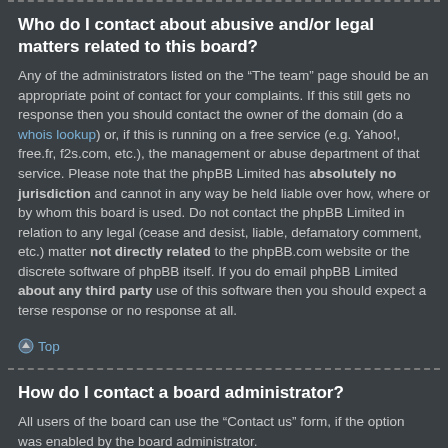Who do I contact about abusive and/or legal matters related to this board?
Any of the administrators listed on the “The team” page should be an appropriate point of contact for your complaints. If this still gets no response then you should contact the owner of the domain (do a whois lookup) or, if this is running on a free service (e.g. Yahoo!, free.fr, f2s.com, etc.), the management or abuse department of that service. Please note that the phpBB Limited has absolutely no jurisdiction and cannot in any way be held liable over how, where or by whom this board is used. Do not contact the phpBB Limited in relation to any legal (cease and desist, liable, defamatory comment, etc.) matter not directly related to the phpBB.com website or the discrete software of phpBB itself. If you do email phpBB Limited about any third party use of this software then you should expect a terse response or no response at all.
Top
How do I contact a board administrator?
All users of the board can use the “Contact us” form, if the option was enabled by the board administrator.
Members of the board can also use the “The team” link.
Top